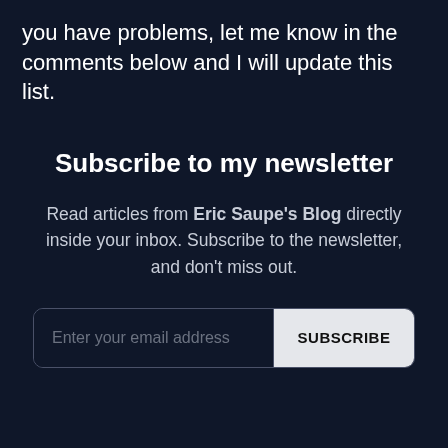you have problems, let me know in the comments below and I will update this list.
Subscribe to my newsletter
Read articles from Eric Saupe's Blog directly inside your inbox. Subscribe to the newsletter, and don't miss out.
[Figure (other): Email subscription form with input field labeled 'Enter your email address' and a 'SUBSCRIBE' button]